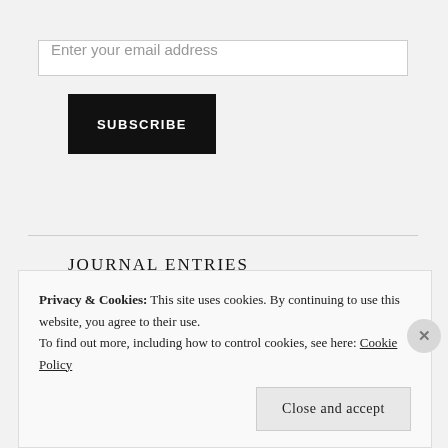Enter your email address
SUBSCRIBE
JOURNAL ENTRIES
Maker's Day 12
Privacy & Cookies: This site uses cookies. By continuing to use this website, you agree to their use. To find out more, including how to control cookies, see here: Cookie Policy
Close and accept